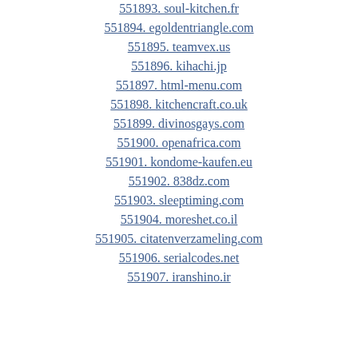551893. soul-kitchen.fr
551894. egoldentriangle.com
551895. teamvex.us
551896. kihachi.jp
551897. html-menu.com
551898. kitchencraft.co.uk
551899. divinosgays.com
551900. openafrica.com
551901. kondome-kaufen.eu
551902. 838dz.com
551903. sleeptiming.com
551904. moreshet.co.il
551905. citatenverzameling.com
551906. serialcodes.net
551907. iranshino.ir